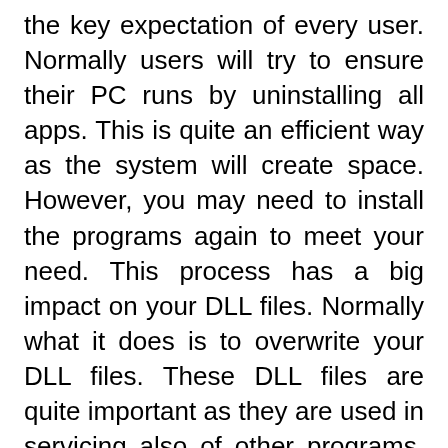the key expectation of every user. Normally users will try to ensure their PC runs by uninstalling all apps. This is quite an efficient way as the system will create space. However, you may need to install the programs again to meet your need. This process has a big impact on your DLL files. Normally what it does is to overwrite your DLL files. These DLL files are quite important as they are used in servicing also of other programs. By overwriting the files from time to time your system will crash. While using the reimage license keys all problems with DLL are handled in the right manner. This ensures your system work